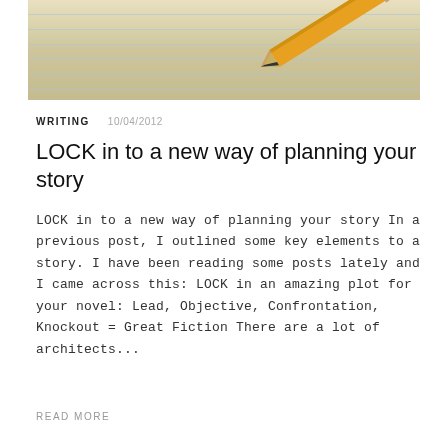[Figure (photo): A sharpened pencil resting on lined notebook paper, photographed at an angle showing the pencil tip in the upper right corner.]
WRITING   10/04/2012
LOCK in to a new way of planning your story
LOCK in to a new way of planning your story In a previous post, I outlined some key elements to a story. I have been reading some posts lately and I came across this: LOCK in an amazing plot for your novel: Lead, Objective, Confrontation, Knockout = Great Fiction There are a lot of architects...
READ MORE